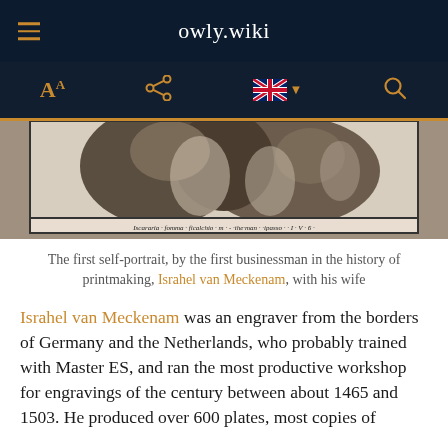owly.wiki
[Figure (photo): Black and white engraving showing two figures, cropped — a historical self-portrait by Israhel van Meckenam with his wife, with Latin text at the bottom]
The first self-portrait, by the first businessman in the history of printmaking, Israhel van Meckenam, with his wife
Israhel van Meckenam was an engraver from the borders of Germany and the Netherlands, who probably trained with Master ES, and ran the most productive workshop for engravings of the century between about 1465 and 1503. He produced over 600 plates, most copies of